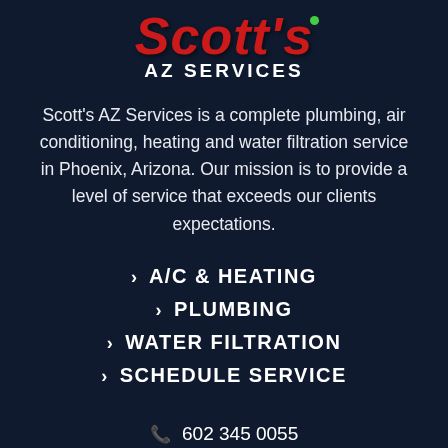[Figure (logo): Scott's AZ Services logo with red italic text 'Scott's' and white bold text 'AZ SERVICES' on dark navy background]
Scott's AZ Services is a complete plumbing, air conditioning, heating and water filtration service in Phoenix, Arizona. Our mission is to provide a level of service that exceeds our clients expectations.
› A/C & HEATING
› PLUMBING
› WATER FILTRATION
› SCHEDULE SERVICE
☎ 602 345 0055
✉ info@scottsaz.com